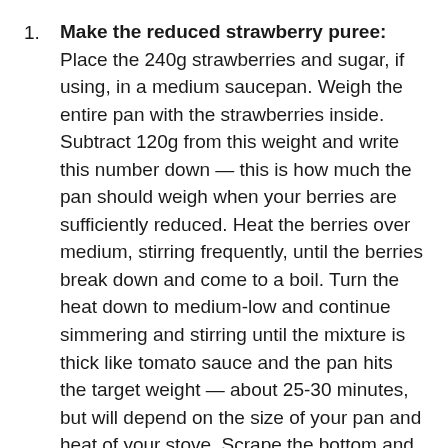Make the reduced strawberry puree: Place the 240g strawberries and sugar, if using, in a medium saucepan. Weigh the entire pan with the strawberries inside. Subtract 120g from this weight and write this number down — this is how much the pan should weigh when your berries are sufficiently reduced. Heat the berries over medium, stirring frequently, until the berries break down and come to a boil. Turn the heat down to medium-low and continue simmering and stirring until the mixture is thick like tomato sauce and the pan hits the target weight — about 25-30 minutes, but will depend on the size of your pan and heat of your stove. Scrape the bottom and the sides of the pan